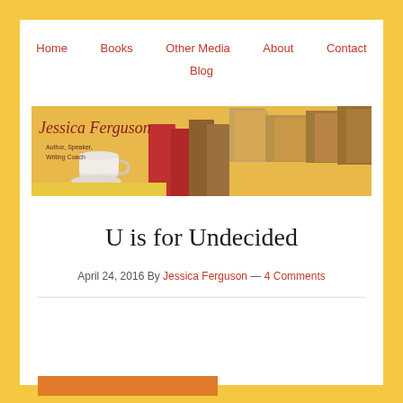Home   Books   Other Media   About   Contact   Blog
[Figure (photo): Jessica Ferguson banner image showing stacked books and a teacup on a yellow background with text 'Jessica Ferguson, Author, Speaker, Writing Coach']
U is for Undecided
April 24, 2016 By Jessica Ferguson — 4 Comments